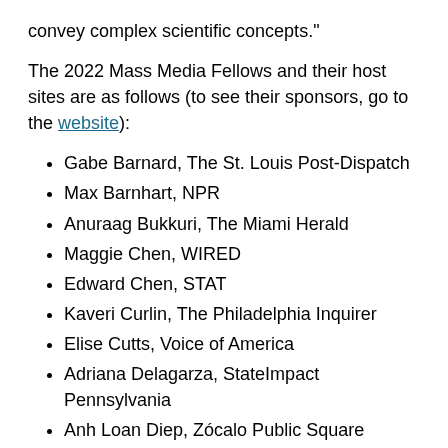convey complex scientific concepts."
The 2022 Mass Media Fellows and their host sites are as follows (to see their sponsors, go to the website):
Gabe Barnard, The St. Louis Post-Dispatch
Max Barnhart, NPR
Anuraag Bukkuri, The Miami Herald
Maggie Chen, WIRED
Edward Chen, STAT
Kaveri Curlin, The Philadelphia Inquirer
Elise Cutts, Voice of America
Adriana Delagarza, StateImpact Pennsylvania
Anh Loan Diep, Zócalo Public Square
Jason Dinh, Discover
Sophia Friesen, WUNC
Chiungwei Huang, The Raleigh News & Observer